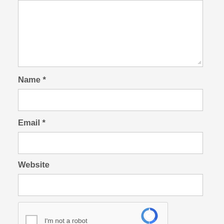[Figure (screenshot): A textarea input box (comment field), partially visible at top, with a resize handle at bottom-right corner.]
Name *
[Figure (screenshot): A text input field for Name.]
Email *
[Figure (screenshot): A text input field for Email.]
Website
[Figure (screenshot): A text input field for Website.]
[Figure (screenshot): reCAPTCHA widget with checkbox and 'I'm not a robot' text, and reCAPTCHA logo on the right.]